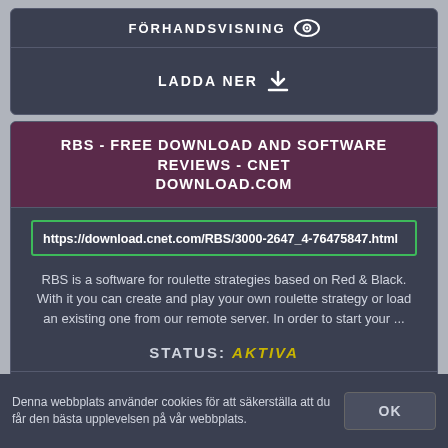FÖRHANDSVISNING
LADDA NER
RBS - FREE DOWNLOAD AND SOFTWARE REVIEWS - CNET DOWNLOAD.COM
https://download.cnet.com/RBS/3000-2647_4-76475847.html
RBS is a software for roulette strategies based on Red & Black. With it you can create and play your own roulette strategy or load an existing one from our remote server. In order to start your ...
STATUS: AKTIVA
FÖRHANDSVISNING
Denna webbplats använder cookies för att säkerställa att du får den bästa upplevelsen på vår webbplats.